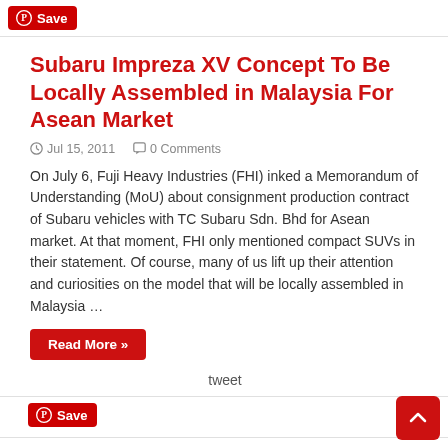[Figure (other): Pinterest Save button at top]
Subaru Impreza XV Concept To Be Locally Assembled in Malaysia For Asean Market
Jul 15, 2011   0 Comments
On July 6, Fuji Heavy Industries (FHI) inked a Memorandum of Understanding (MoU) about consignment production contract of Subaru vehicles with TC Subaru Sdn. Bhd for Asean market. At that moment, FHI only mentioned compact SUVs in their statement. Of course, many of us lift up their attention and curiosities on the model that will be locally assembled in Malaysia …
Read More »
tweet
[Figure (other): Pinterest Save button at bottom]
2011 Melbourne Motor Show Concept Cars